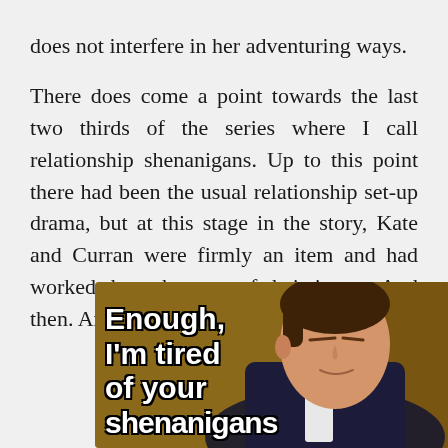does not interfere in her adventuring ways.

There does come a point towards the last two thirds of the series where I call relationship shenanigans. Up to this point there had been the usual relationship set-up drama, but at this stage in the story, Kate and Curran were firmly an item and had worked through many of their issues. And then. And then!
[Figure (photo): A meme image showing a young man in a blazer with eyes closed, with overlaid bold white text reading 'Enough, I'm tired of your shenanigans' (partially visible)]